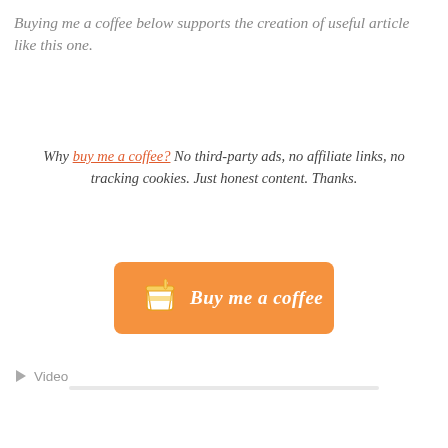Buying me a coffee below supports the creation of useful article like this one.
Why buy me a coffee? No third-party ads, no affiliate links, no tracking cookies. Just honest content. Thanks.
[Figure (other): Orange 'Buy me a coffee' button with a coffee cup icon on the left and italic white text reading 'Buy me a coffee']
Video
[Figure (other): Gray horizontal bar/divider at the bottom of the page]